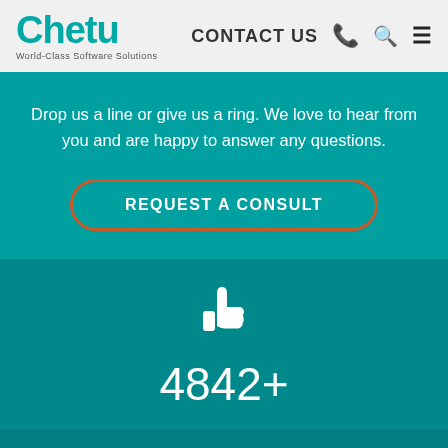Chetu World-Class Software Solutions | CONTACT US
Drop us a line or give us a ring. We love to hear from you and are happy to answer any questions.
REQUEST A CONSULT
[Figure (illustration): White thumbs-up icon on teal background]
4842+
By continuing to use this website, you agreeto our cookie policy.
GOT IT